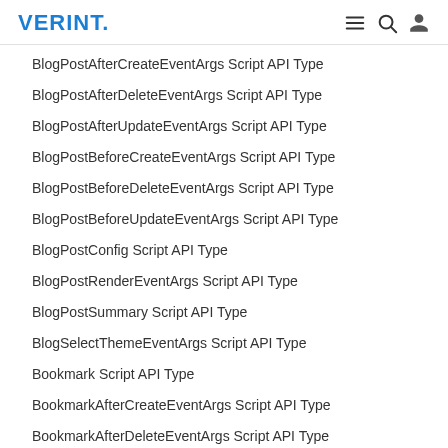VERINT.
BlogPostAfterCreateEventArgs Script API Type
BlogPostAfterDeleteEventArgs Script API Type
BlogPostAfterUpdateEventArgs Script API Type
BlogPostBeforeCreateEventArgs Script API Type
BlogPostBeforeDeleteEventArgs Script API Type
BlogPostBeforeUpdateEventArgs Script API Type
BlogPostConfig Script API Type
BlogPostRenderEventArgs Script API Type
BlogPostSummary Script API Type
BlogSelectThemeEventArgs Script API Type
Bookmark Script API Type
BookmarkAfterCreateEventArgs Script API Type
BookmarkAfterDeleteEventArgs Script API Type
BookmarkBeforeCreateEventArgs Script API Type
BookmarkBeforeDeleteEventArgs Script API Type
CalculatedMetricEventArgs Script API Type